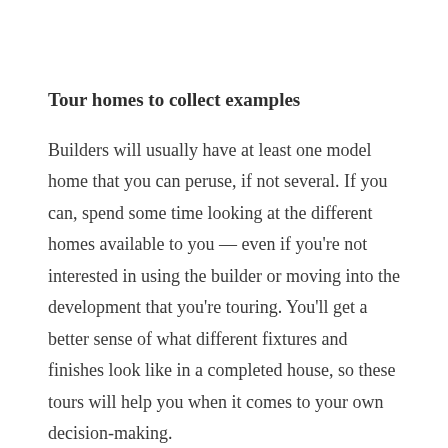Tour homes to collect examples
Builders will usually have at least one model home that you can peruse, if not several. If you can, spend some time looking at the different homes available to you — even if you're not interested in using the builder or moving into the development that you're touring. You'll get a better sense of what different fixtures and finishes look like in a completed house, so these tours will help you when it comes to your own decision-making.